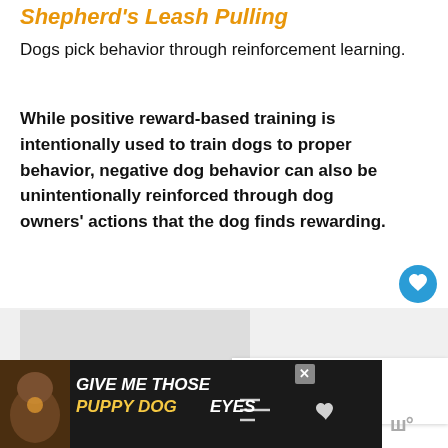Shepherd's Leash Pulling
Dogs pick behavior through reinforcement learning.
While positive reward-based training is intentionally used to train dogs to proper behavior, negative dog behavior can also be unintentionally reinforced through dog owners' actions that the dog finds rewarding.
[Figure (screenshot): Heart/like button icon - circular blue button with white heart symbol]
[Figure (screenshot): Share button - circular white button with share icon]
[Figure (screenshot): What's Next card showing a dog thumbnail with text 'WHAT'S NEXT -> How To Show Dominance...']
[Figure (screenshot): Advertisement banner with dark background showing a dog and text 'GIVE ME THOSE PUPPY DOG EYES' with heart icon, close button, and watermark]
GIVE ME THOSE PUPPY DOG EYES